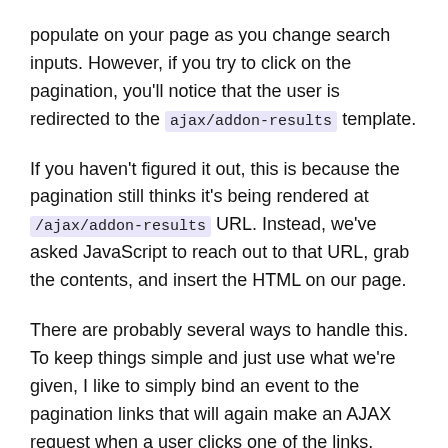populate on your page as you change search inputs. However, if you try to click on the pagination, you'll notice that the user is redirected to the ajax/addon-results template.
If you haven't figured it out, this is because the pagination still thinks it's being rendered at /ajax/addon-results URL. Instead, we've asked JavaScript to reach out to that URL, grab the contents, and insert the HTML on our page.
There are probably several ways to handle this. To keep things simple and just use what we're given, I like to simply bind an event to the pagination links that will again make an AJAX request when a user clicks one of the links.